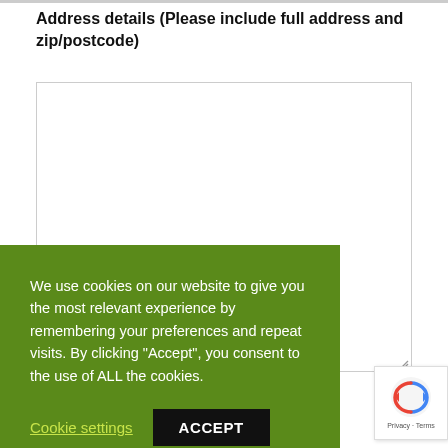Address details (Please include full address and zip/postcode)
[Figure (screenshot): Empty textarea input box for address entry with resize handle in bottom-right corner]
We use cookies on our website to give you the most relevant experience by remembering your preferences and repeat visits. By clicking "Accept", you consent to the use of ALL the cookies.
Cookie settings
ACCEPT
[Figure (logo): Google reCAPTCHA badge with circular arrow logo and Privacy - Terms text]